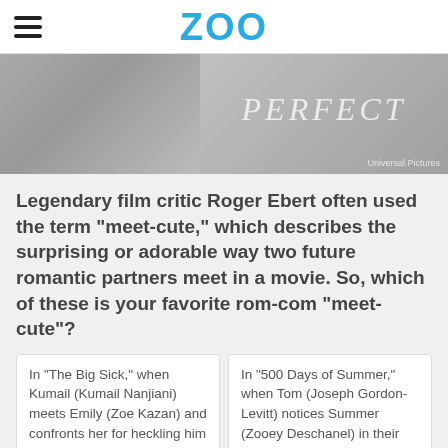ZOO
[Figure (photo): Black and white movie banner image showing the word PERFECT in stylized italic text, with a Universal Pictures credit in the bottom right corner.]
Legendary film critic Roger Ebert often used the term "meet-cute," which describes the surprising or adorable way two future romantic partners meet in a movie. So, which of these is your favorite rom-com "meet-cute"?
In "The Big Sick," when Kumail (Kumail Nanjiani) meets Emily (Zoe Kazan) and confronts her for heckling him
In "500 Days of Summer," when Tom (Joseph Gordon-Levitt) notices Summer (Zooey Deschanel) in their office elevator